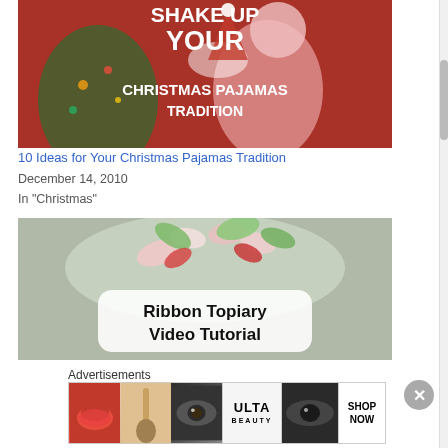[Figure (photo): Photo with overlay text: 'SHAKE UP YOUR CHRISTMAS PAJAMAS TRADITION' — people in Christmas pajamas and Santa hat near a decorated Christmas tree]
10 Ideas for Your Christmas Pajamas Tradition
December 14, 2010
In "Christmas"
[Figure (photo): Photo of ribbon topiary craft with overlay text box reading 'Ribbon Topiary Video Tutorial']
Advertisements
[Figure (photo): Ulta Beauty advertisement banner showing makeup imagery with 'SHOP NOW' call to action]